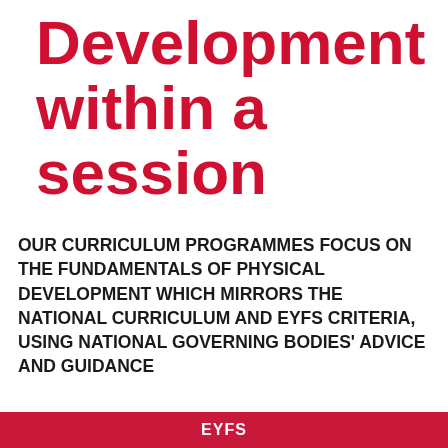Development within a session
OUR CURRICULUM PROGRAMMES FOCUS ON THE FUNDAMENTALS OF PHYSICAL DEVELOPMENT WHICH MIRRORS THE NATIONAL CURRICULUM AND EYFS CRITERIA, USING NATIONAL GOVERNING BODIES' ADVICE AND GUIDANCE
EYFS